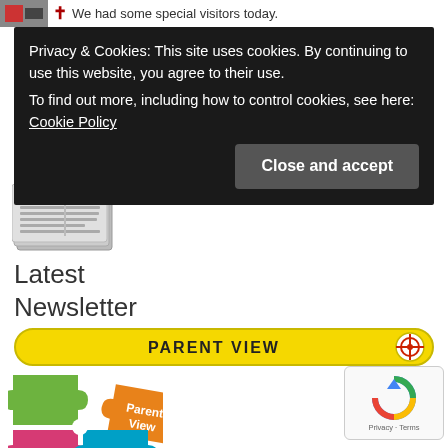We had some special visitors today.
Privacy & Cookies: This site uses cookies. By continuing to use this website, you agree to their use.
To find out more, including how to control cookies, see here: Cookie Policy
Close and accept
[Figure (illustration): Newspaper stack illustration]
Latest
Newsletter
[Figure (infographic): PARENT VIEW button with yellow background and Ofsted crosshair icon]
[Figure (logo): Parent View puzzle pieces logo - colorful jigsaw pieces in green, orange, pink, and teal with 'Parent View' text]
[Figure (other): Google reCAPTCHA badge with Privacy and Terms]